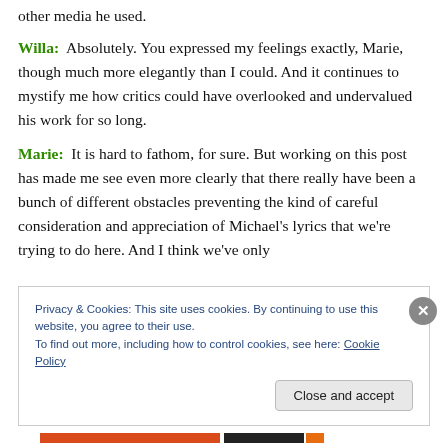other media he used.
Willa:  Absolutely. You expressed my feelings exactly, Marie, though much more elegantly than I could. And it continues to mystify me how critics could have overlooked and undervalued his work for so long.
Marie:  It is hard to fathom, for sure. But working on this post has made me see even more clearly that there really have been a bunch of different obstacles preventing the kind of careful consideration and appreciation of Michael's lyrics that we're trying to do here. And I think we've only
Privacy & Cookies: This site uses cookies. By continuing to use this website, you agree to their use.
To find out more, including how to control cookies, see here: Cookie Policy
Close and accept